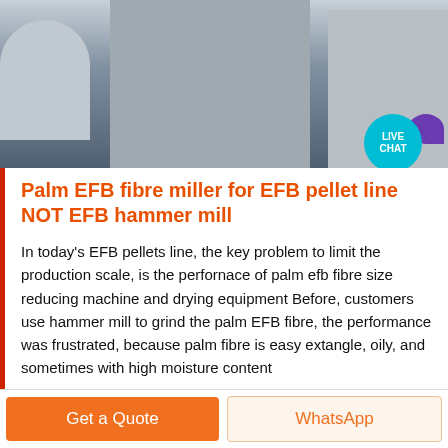[Figure (photo): Industrial machinery photo showing large white and grey milling/pellet machines in a factory setting with yellow structural frames and pipes overhead.]
Palm EFB fibre miller for EFB pellet line NOT EFB hammer mill
In today's EFB pellets line, the key problem to limit the production scale, is the perfornace of palm efb fibre size reducing machine and drying equipment Before, customers use hammer mill to grind the palm EFB fibre, the performance was frustrated, because palm fibre is easy extangle, oily, and sometimes with high moisture content
Sales
Get a Quote
WhatsApp